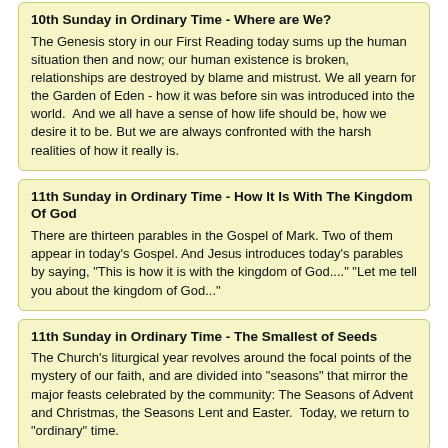10th Sunday in Ordinary Time - Where are We?
The Genesis story in our First Reading today sums up the human situation then and now; our human existence is broken, relationships are destroyed by blame and mistrust. We all yearn for the Garden of Eden - how it was before sin was introduced into the world.  And we all have a sense of how life should be, how we desire it to be. But we are always confronted with the harsh realities of how it really is.
11th Sunday in Ordinary Time - How It Is With The Kingdom Of God
There are thirteen parables in the Gospel of Mark. Two of them appear in today's Gospel. And Jesus introduces today's parables by saying, "This is how it is with the kingdom of God...." "Let me tell you about the kingdom of God..."
11th Sunday in Ordinary Time - The Smallest of Seeds
The Church's liturgical year revolves around the focal points of the mystery of our faith, and are divided into "seasons" that mirror the major feasts celebrated by the community: The Seasons of Advent and Christmas, the Seasons Lent and Easter.  Today, we return to "ordinary" time.
12th Sunday in Ordinary Time - Moving from Fear to Faith
The journey of faith is a never-ending one... one of constantly coming to know the Father through Jesus.  It parallels the journey of the first disciples - their coming to faith… their coming to understand who the Father was - and how they came to know him. God is always the one who speaks first, who acts first, who